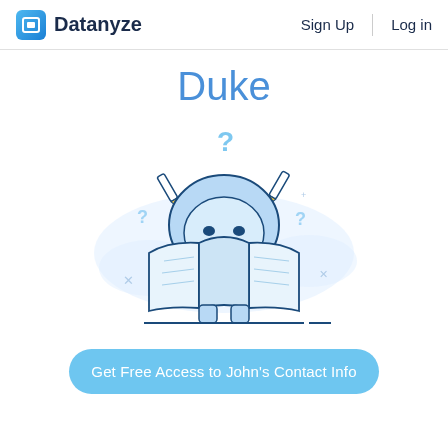Datanyze  Sign Up  Log in
Duke
[Figure (illustration): Cartoon mascot character (Duke) reading a large open book/map, with question marks floating around it. The character has a dome-shaped blue head with horns holding pencils, smiling face, sitting on short legs. Blue and white color scheme with soft cloud shapes in background.]
Get Free Access to John's Contact Info